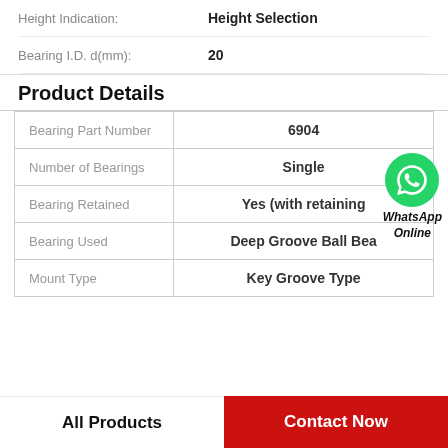Height Indication: Height Selection
Bearing I.D. d(mm): 20
Product Details
| Field | Value |
| --- | --- |
| Bearing Part Number | 6904 |
| Number of Bearings | Single |
| Bearing Retained | Yes (with retaining |
| Bearing Used | Deep Groove Ball Bea |
| Mount Type | Key Groove Type |
[Figure (logo): WhatsApp Online icon with green circle and phone handset, labeled WhatsApp Online in bold italic text]
All Products
Contact Now